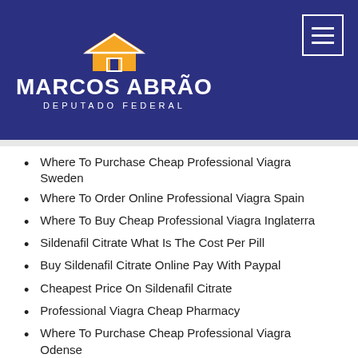[Figure (logo): Marcos Abrão Deputado Federal logo with house icon on dark blue background and hamburger menu button]
Where To Purchase Cheap Professional Viagra Sweden
Where To Order Online Professional Viagra Spain
Where To Buy Cheap Professional Viagra Inglaterra
Sildenafil Citrate What Is The Cost Per Pill
Buy Sildenafil Citrate Online Pay With Paypal
Cheapest Price On Sildenafil Citrate
Professional Viagra Cheap Pharmacy
Where To Purchase Cheap Professional Viagra Odense
Buy Generic Sildenafil Citrate Review
Where To Buy Cheap Professional Viagra Chicago
Buy Cheap Brand Sildenafil Citrate
Buy Online Professional Viagra Belgique
Cheapest Place To Buy Sildenafil Citrate
Buy Brand Name Professional Viagra
Lower Cost Sildenafil Citrate